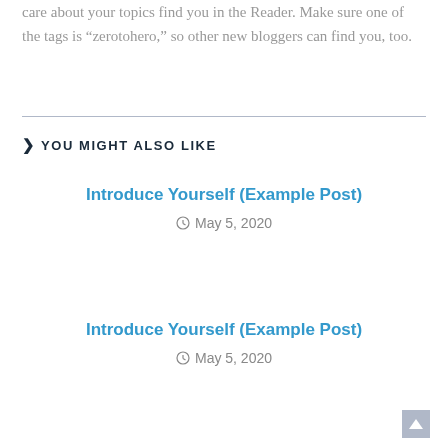care about your topics find you in the Reader. Make sure one of the tags is “zerotohero,” so other new bloggers can find you, too.
YOU MIGHT ALSO LIKE
Introduce Yourself (Example Post)
May 5, 2020
Introduce Yourself (Example Post)
May 5, 2020